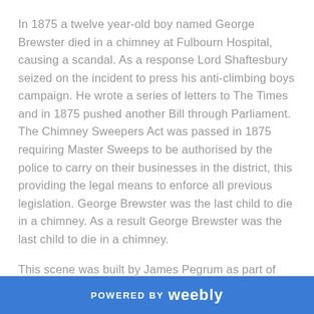In 1875 a twelve year-old boy named George Brewster died in a chimney at Fulbourn Hospital, causing a scandal. As a response Lord Shaftesbury seized on the incident to press his anti-climbing boys campaign. He wrote a series of letters to The Times and in 1875 pushed another Bill through Parliament. The Chimney Sweepers Act was passed in 1875 requiring Master Sweeps to be authorised by the police to carry on their businesses in the district, this providing the legal means to enforce all previous legislation. George Brewster was the last child to die in a chimney. As a result George Brewster was the last child to die in a chimney.
This scene was built by James Pegrum as part of
POWERED BY weebly